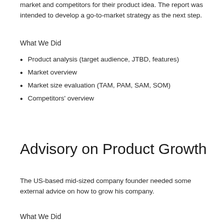market and competitors for their product idea. The report was intended to develop a go-to-market strategy as the next step.
What We Did
Product analysis (target audience, JTBD, features)
Market overview
Market size evaluation (TAM, PAM, SAM, SOM)
Competitors' overview
Advisory on Product Growth
The US-based mid-sized company founder needed some external advice on how to grow his company.
What We Did